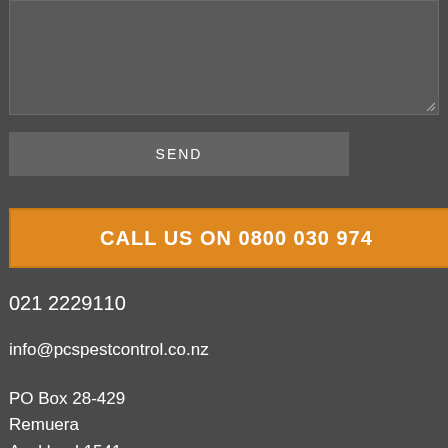[Figure (screenshot): Text area input field with dark grey background and resize handle in bottom right corner]
SEND
CALL US ON 0800 030 974
021 2229110
info@pcspestcontrol.co.nz
PO Box 28-429
Remuera
Auckland 1541
[Figure (illustration): Facebook and LinkedIn social media icon buttons]